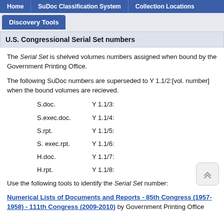Home | SuDoc Classification System | Collection Locations
Discovery Tools
U.S. Congressional Serial Set numbers
The Serial Set is shelved volumes numbers assigned when bound by the Government Printing Office.
The following SuDoc numbers are superseded to Y 1.1/2:[vol. number] when the bound volumes are recieved.
S.doc.    Y 1.1/3:
S.exec.doc.    Y 1.1/4:
S.rpt.    Y 1.1/5:
S. exec.rpt.    Y 1.1/6:
H.doc.    Y 1.1/7:
H.rpt.    Y 1.1/8:
Use the following tools to identify the Serial Set number:
Numerical Lists of Documents and Reports - 85th Congress (1957-1958) - 111th Congress (2009-2010) by Government Printing Office